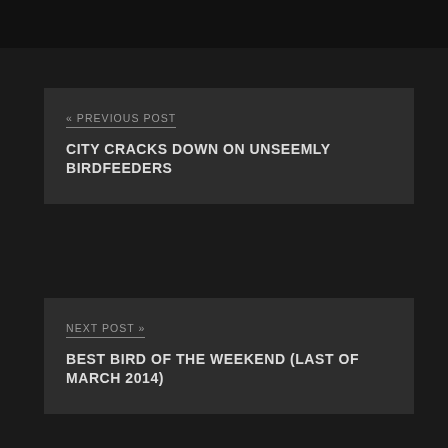« PREVIOUS POST
CITY CRACKS DOWN ON UNSEEMLY BIRDFEEDERS
NEXT POST »
BEST BIRD OF THE WEEKEND (LAST OF MARCH 2014)
Welcome to 10,000 Birds, the world's favorite birding blog! Learn more about our site, Mike, Corey,